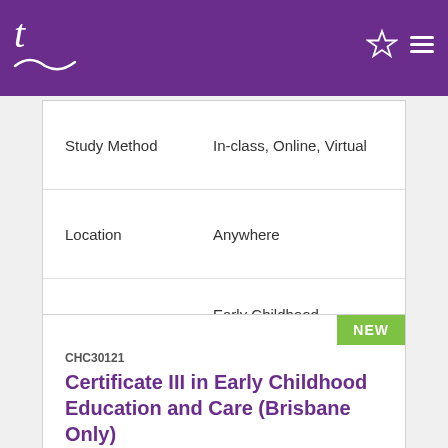t (Tutors/Training search app header)
| Field | Value |
| --- | --- |
| Study Method | In-class, Online, Virtual |
| Location | Anywhere |
| Job Outcomes | Early Childhood Educator +3 |
[Figure (logo): Angel Institute of Education logo with red wave graphic]
View Details >
CHC30121
Certificate III in Early Childhood Education and Care (Brisbane Only)
| Field | Value |
| --- | --- |
| Study Method | Blended, Online, Virtual |